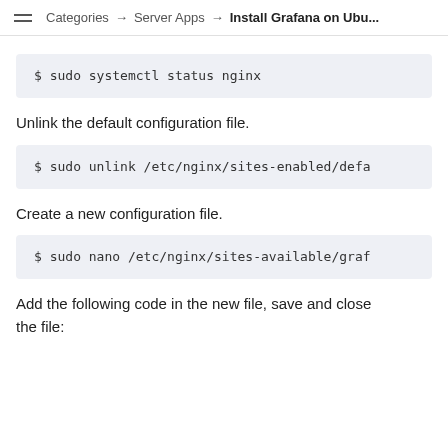Categories → Server Apps → Install Grafana on Ubu...
$ sudo systemctl status nginx
Unlink the default configuration file.
$ sudo unlink /etc/nginx/sites-enabled/defa
Create a new configuration file.
$ sudo nano /etc/nginx/sites-available/graf
Add the following code in the new file, save and close the file: